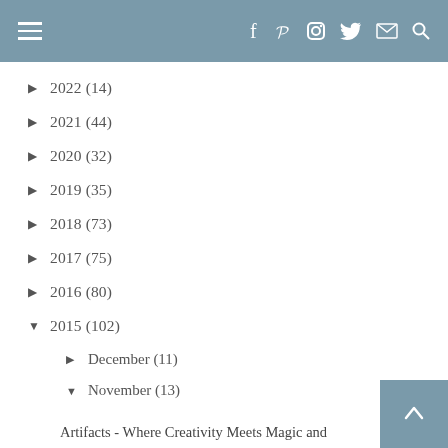Navigation header with hamburger menu and social icons (f, Pinterest, Instagram, Twitter, email, search)
► 2022 (14)
► 2021 (44)
► 2020 (32)
► 2019 (35)
► 2018 (73)
► 2017 (75)
► 2016 (80)
▼ 2015 (102)
► December (11)
▼ November (13)
Artifacts - Where Creativity Meets Magic and